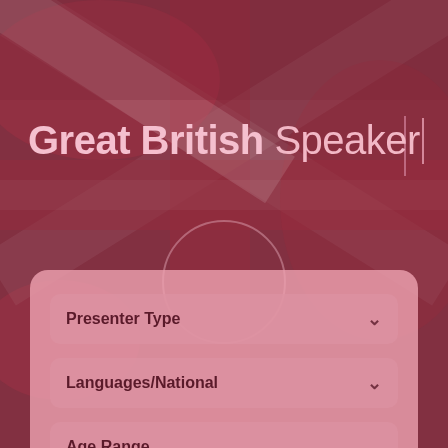[Figure (illustration): Union Jack / British flag background image with dark red/crimson tones, blurred and darkened]
Great British Speaker
Presenter Type (dropdown)
Languages/National (dropdown)
Age Range (dropdown)
Subject/Industry (dropdown, partially visible)